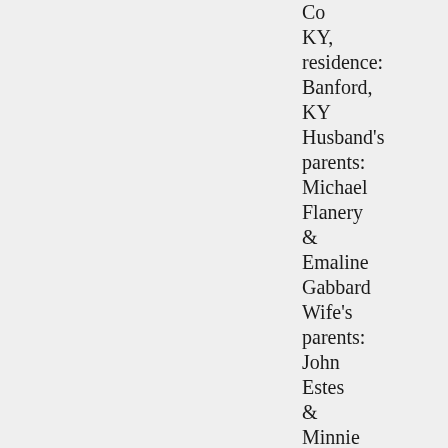Co KY, residence: Banford, KY Husband's parents: Michael Flanery & Emaline Gabbard Wife's parents: John Estes & Minnie Ann Newman md 17